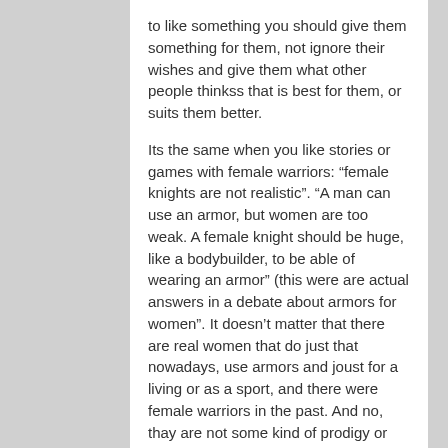to like something you should give them something for them, not ignore their wishes and give them what other people thinkss that is best for them, or suits them better.
Its the same when you like stories or games with female warriors: "female knights are not realistic". "A man can use an armor, but women are too weak. A female knight should be huge, like a bodybuilder, to be able of wearing an armor" (this were are actual answers in a debate about armors for women". It doesn't matter that there are real women that do just that nowadays, use armors and joust for a living or as a sport, and there were female warriors in the past. And no, thay are not some kind of prodigy or monstrosity:
http://abbeytournament.com/events-and-tickets/jousting/
http://www.culture24.org.uk/history-and-heritage/war-and-conflict/art448756
http://www.dispatch.com/content/stories/local/2010/10/17/woman-of-steel.html
http://siqhroll.com/united-states-longest-running-